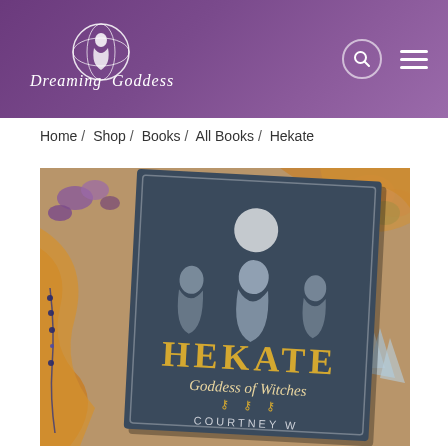Dreaming Goddess
Home / Shop / Books / All Books / Hekate
[Figure (photo): Product photo of the book 'Hekate: Goddess of Witches' by Courtney W., shown lying on a surface surrounded by flowers, orange ribbon, beads, and crystals. The book cover features three women, triple moon symbols, and gold lettering.]